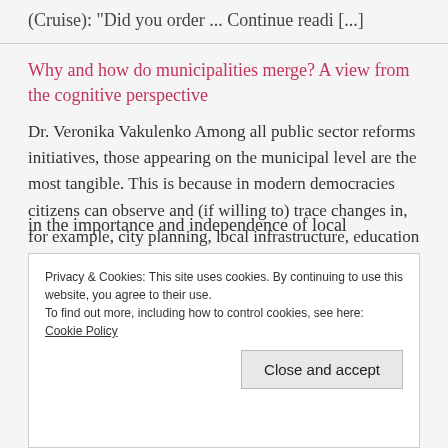(Cruise): "Did you order ... Continue readi [...]
Why and how do municipalities merge? A view from the cognitive perspective
Dr. Veronika Vakulenko Among all public sector reforms initiatives, those appearing on the municipal level are the most tangible. This is because in modern democracies citizens can observe and (if willing to) trace changes in, for example, city planning, local infrastructure, education and many other spheres. Let’s be honest, everyone likes to visit a clean [...]
Privacy & Cookies: This site uses cookies. By continuing to use this website, you agree to their use.
To find out more, including how to control cookies, see here: Cookie Policy
Close and accept
in the importance and independence of local